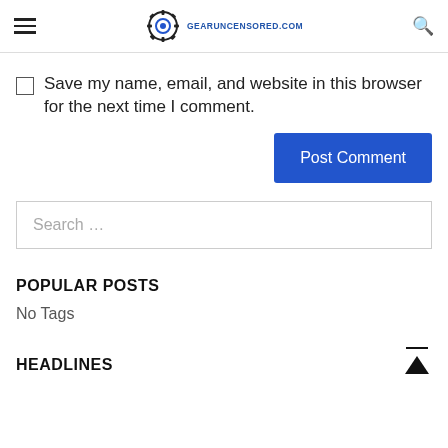GEARUNCENSORED.COM
Save my name, email, and website in this browser for the next time I comment.
Post Comment
Search ...
POPULAR POSTS
No Tags
HEADLINES